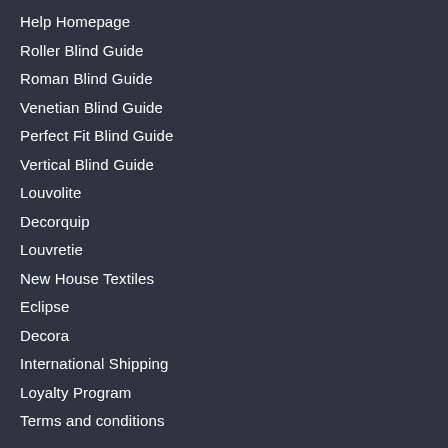Help Homepage
Roller Blind Guide
Roman Blind Guide
Venetian Blind Guide
Perfect Fit Blind Guide
Vertical Blind Guide
Louvolite
Decorquip
Louvretie
New House Textiles
Eclipse
Decora
International Shipping
Loyalty Program
Terms and conditions